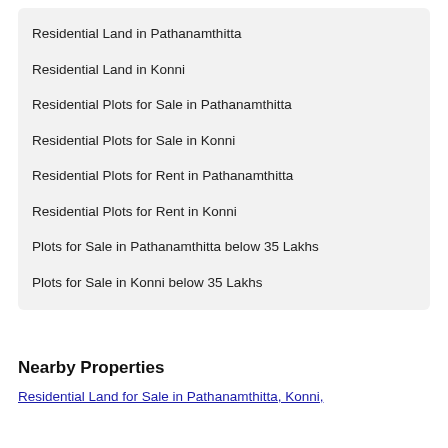Residential Land in Pathanamthitta
Residential Land in Konni
Residential Plots for Sale in Pathanamthitta
Residential Plots for Sale in Konni
Residential Plots for Rent in Pathanamthitta
Residential Plots for Rent in Konni
Plots for Sale in Pathanamthitta below 35 Lakhs
Plots for Sale in Konni below 35 Lakhs
Nearby Properties
Residential Land for Sale in Pathanamthitta, Konni,